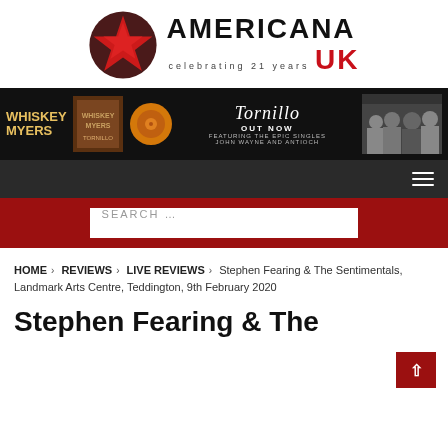[Figure (logo): Americana UK logo with red star and text 'AMERICANA celebrating 21 years UK']
[Figure (photo): Whiskey Myers Tornillo album banner ad - black background with band name, album cover, vinyl record, title 'Tornillo Out Now' and band photo]
Navigation bar with hamburger menu icon
SEARCH ...
HOME > REVIEWS > LIVE REVIEWS > Stephen Fearing & The Sentimentals, Landmark Arts Centre, Teddington, 9th February 2020
Stephen Fearing & The